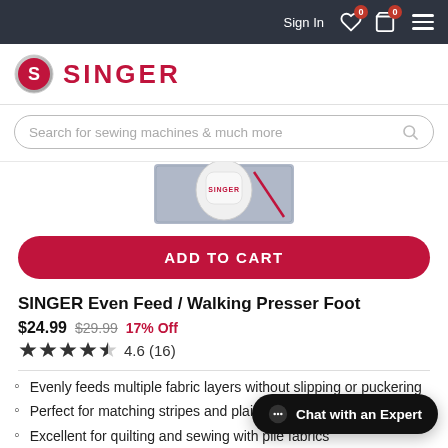Sign In  0  0
[Figure (logo): SINGER brand logo with red circle containing S letter and SINGER wordmark in red]
Search for sewing machines & much more
[Figure (photo): Partial product image of SINGER Even Feed / Walking Presser Foot on fabric background]
ADD TO CART
SINGER Even Feed / Walking Presser Foot
$24.99  $29.99  17% Off
4.6 (16)
Evenly feeds multiple fabric layers without slipping or puckering
Perfect for matching stripes and plaids
Excellent for quilting and sewing with pile fabrics
Chat with an Expert